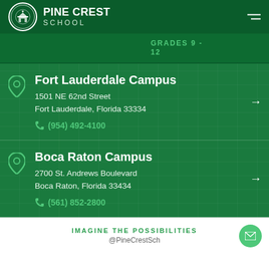[Figure (logo): Pine Crest School logo — circular emblem with building/crest illustration, white border]
PINE CREST SCHOOL
GRADES 9 - 12
Fort Lauderdale Campus
1501 NE 62nd Street
Fort Lauderdale, Florida 33334
(954) 492-4100
Boca Raton Campus
2700 St. Andrews Boulevard
Boca Raton, Florida 33434
(561) 852-2800
IMAGINE THE POSSIBILITIES
@PineCrestSch